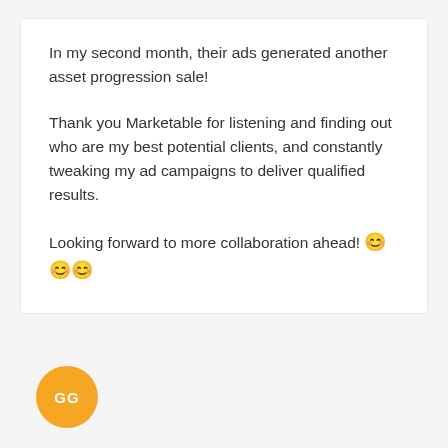In my second month, their ads generated another asset progression sale!
Thank you Marketable for listening and finding out who are my best potential clients, and constantly tweaking my ad campaigns to deliver qualified results.
Looking forward to more collaboration ahead! 😊😊😊
[Figure (other): Orange circular avatar with white initials 'GG']